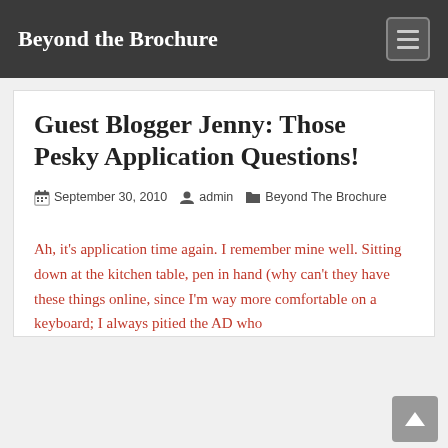Beyond the Brochure
Guest Blogger Jenny: Those Pesky Application Questions!
September 30, 2010   admin   Beyond The Brochure
Ah, it's application time again. I remember mine well. Sitting down at the kitchen table, pen in hand (why can't they have these things online, since I'm way more comfortable on a keyboard; I always pitied the AD who